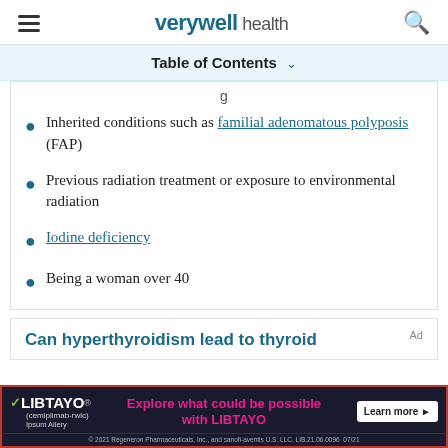verywell health
Table of Contents
Inherited conditions such as familial adenomatous polyposis (FAP)
Previous radiation treatment or exposure to environmental radiation
Iodine deficiency
Being a woman over 40
Can hyperthyroidism lead to thyroid
[Figure (screenshot): LIBTAYO advertisement banner: 'Explore what could be possible with LIBTAYO' with Learn more button. © 2021 Regeneron Pharmaceuticals, Inc., and sanofi-aventis U.S. LLC. LIB.21.06.0096 07/21]